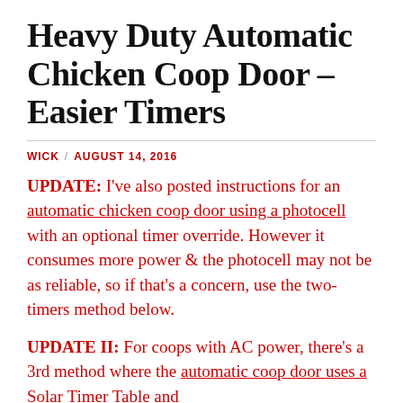Heavy Duty Automatic Chicken Coop Door – Easier Timers
WICK / AUGUST 14, 2016
UPDATE: I've also posted instructions for an automatic chicken coop door using a photocell with an optional timer override. However it consumes more power & the photocell may not be as reliable, so if that's a concern, use the two-timers method below.
UPDATE II: For coops with AC power, there's a 3rd method where the automatic coop door uses a Solar Timer Table and...